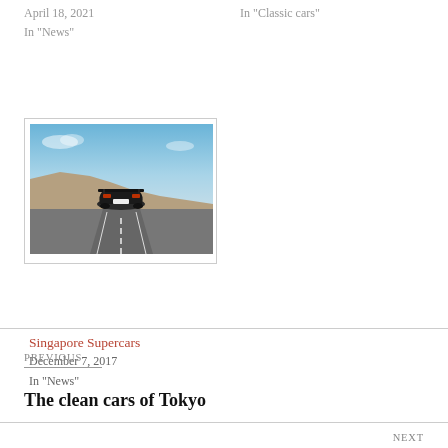April 18, 2021
In "News"
In "Classic cars"
[Figure (photo): Rear view of a supercar driving on a desert highway under a blue sky]
Singapore Supercars
December 7, 2017
In "News"
PREVIOUS
The clean cars of Tokyo
NEXT